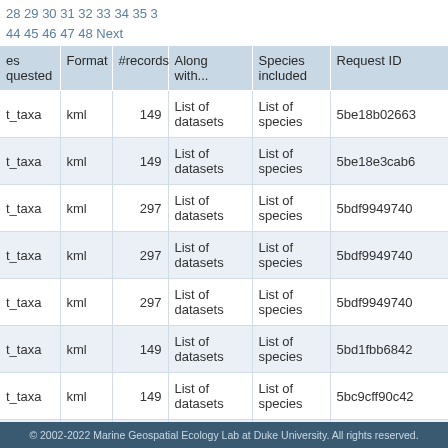28 29 30 31 32 33 34 35 3
44 45 46 47 48 Next
| es
quested | Format | #records | Along with... | Species included | Request ID |
| --- | --- | --- | --- | --- | --- |
| t_taxa | kml | 149 | List of datasets | List of species | 5be18b02663 |
| t_taxa | kml | 149 | List of datasets | List of species | 5be18e3cab6 |
| t_taxa | kml | 297 | List of datasets | List of species | 5bdf9949740 |
| t_taxa | kml | 297 | List of datasets | List of species | 5bdf9949740 |
| t_taxa | kml | 297 | List of datasets | List of species | 5bdf9949740 |
| t_taxa | kml | 149 | List of datasets | List of species | 5bd1fbb6842 |
| t_taxa | kml | 149 | List of datasets | List of species | 5bc9cff90c42 |
| t_taxa | kml | ... | List of | List of | 5bc5... |
© 2002-2022 Marine Geospatial Ecology Lab at Duke University. All rights reserved.